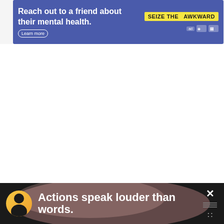[Figure (screenshot): Advertisement banner: blue background with text 'Reach out to a friend about their mental health.' and 'Learn more' button, 'SEIZE THE AWKWARD' yellow badge, ad icons on right]
[Figure (screenshot): White content area with social action buttons on right side: heart/like button (circle, blue), 100K count label, share button (circle, white). 'WHAT'S NEXT' panel with thumbnail and 'Cinnamon Sugar...' text.]
[Figure (photo): Food photo strip at bottom of content area, brownish/golden tones]
[Figure (screenshot): Bottom advertisement bar on dark background: person avatar, 'Actions speak louder than words.' text in white, close X button on right]